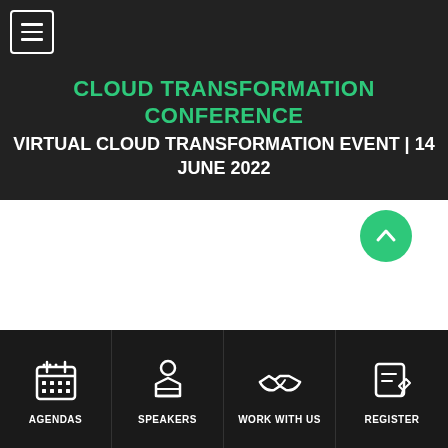CLOUD TRANSFORMATION CONFERENCE
VIRTUAL CLOUD TRANSFORMATION EVENT | 14 JUNE 2022
[Figure (infographic): White content area with scroll-to-top green circular button with chevron up arrow]
AGENDAS
SPEAKERS
WORK WITH US
REGISTER